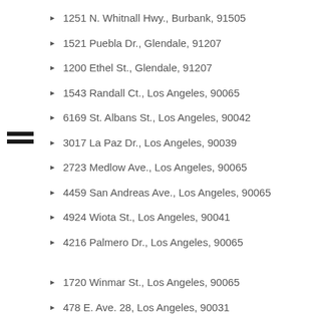1251 N. Whitnall Hwy., Burbank, 91505
1521 Puebla Dr., Glendale, 91207
1200 Ethel St., Glendale, 91207
1543 Randall Ct., Los Angeles, 90065
6169 St. Albans St., Los Angeles, 90042
3017 La Paz Dr., Los Angeles, 90039
2723 Medlow Ave., Los Angeles, 90065
4459 San Andreas Ave., Los Angeles, 90065
4924 Wiota St., Los Angeles, 90041
4216 Palmero Dr., Los Angeles, 90065
1720 Winmar St., Los Angeles, 90065
478 E. Ave. 28, Los Angeles, 90031